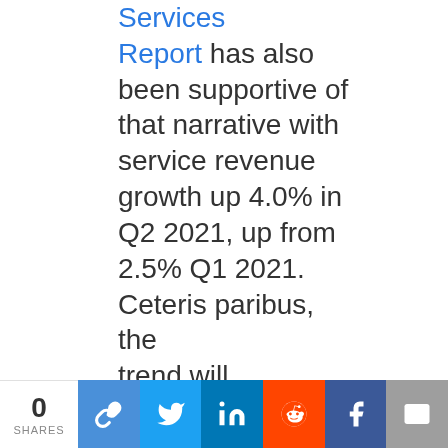Services Report has also been supportive of that narrative with service revenue growth up 4.0% in Q2 2021, up from 2.5% Q1 2021. Ceteris paribus, the trend will...
0 SHARES | Copy | Twitter | LinkedIn | Reddit | Facebook | Email